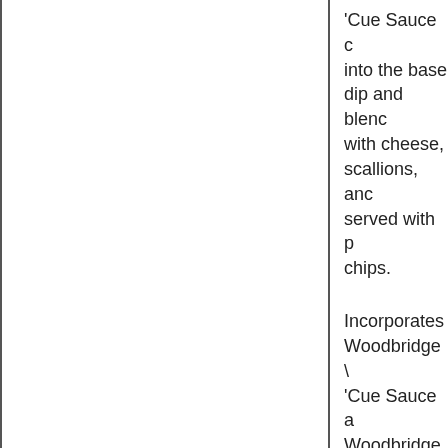'Cue Sauce into the base dip and blend with cheese, scallions, and served with chips.
Incorporates Woodbridge 'Cue Sauce and Woodbridge by Robert Mondavi Cabernet Sauvignon as ingredients